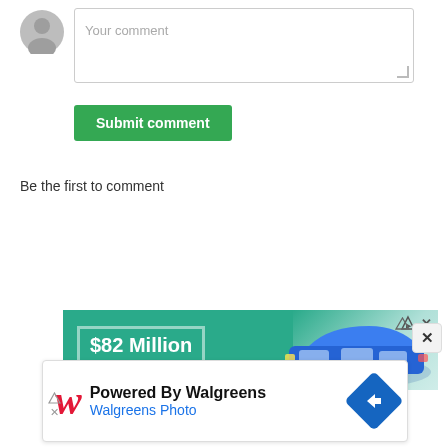[Figure (illustration): Gray circular avatar placeholder icon with silhouette of a person]
[Figure (screenshot): Comment text input box with placeholder text 'Your comment' and a resize handle in the bottom right corner]
[Figure (screenshot): Green 'Submit comment' button]
Be the first to comment
[Figure (infographic): Advertisement banner with teal background showing '$82 Million' text in a bordered box and a blue car on the right side, with ad icons in the top right corner]
[Figure (screenshot): Advertisement card for Walgreens Photo showing red Walgreens W logo, 'Powered By Walgreens' heading, 'Walgreens Photo' subtext in blue, and a blue diamond arrow icon on the right]